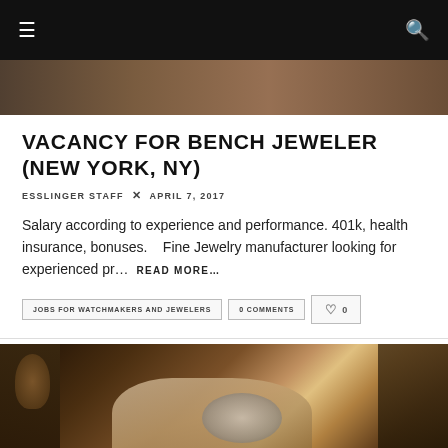≡  🔍
[Figure (photo): Top partial photo of dark jeweler workspace]
VACANCY FOR BENCH JEWELER (NEW YORK, NY)
ESSLINGER STAFF  ×  APRIL 7, 2017
Salary according to experience and performance. 401k, health insurance, bonuses.    Fine Jewelry manufacturer looking for experienced pr…  READ MORE...
JOBS FOR WATCHMAKERS AND JEWELERS
0 COMMENTS
♡  0
[Figure (photo): Photo of jeweler working at bench with tools, close-up of hands holding instrument over a piece]